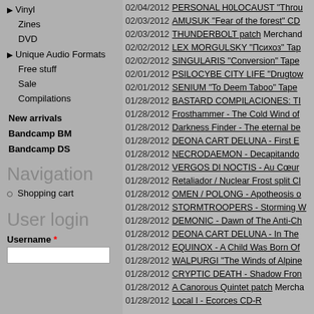▶ Vinyl
Zines
DVD
▶ Unique Audio Formats
Free stuff
Sale
Compilations
New arrivals
Bandcamp BM
Bandcamp DS
Navigation
Shopping cart
User login
Username *
02/04/2012 PERSONAL H0LOCAUST "Throu...
02/03/2012 AMUSUK "Fear of the forest" CD
02/03/2012 THUNDERBOLT patch Merchand...
02/02/2012 LEX MORGULSKY "Психоз" Tap...
02/02/2012 SINGULARIS "Conversion" Tape
02/01/2012 PSILOCYBE CITY LIFE "Drugtow...
02/01/2012 SENIUM "To Deem Taboo" Tape
01/28/2012 BASTARD COMPILACIONES: TI...
01/28/2012 Frosthammer - The Cold Wind of...
01/28/2012 Darkness Finder - The eternal be...
01/28/2012 DEONA CART DELUNA - First E...
01/28/2012 NECRODAEMON - Decapitando...
01/28/2012 VERGOS DI NOCTIS - Au Cœur...
01/28/2012 Retaliador / Nuclear Frost split Cl...
01/28/2012 OMEN / POLONG - Apotheosis o...
01/28/2012 STORMTROOPERS - Storming W...
01/28/2012 DEMONIC - Dawn of The Anti-Ch...
01/28/2012 DEONA CART DELUNA - In The...
01/28/2012 EQUINOX - A Child Was Born Of...
01/28/2012 WALPURGI "The Winds of Alpine...
01/28/2012 CRYPTIC DEATH - Shadow Fron...
01/28/2012 A Canorous Quintet patch Mercha...
01/28/2012 Local I - Ecorces CD-R